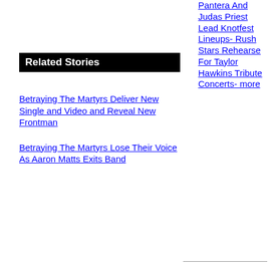Related Stories
Betraying The Martyrs Deliver New Single and Video and Reveal New Frontman
Betraying The Martyrs Lose Their Voice As Aaron Matts Exits Band
Pantera And Judas Priest Lead Knotfest Lineups- Rush Stars Rehearse For Taylor Hawkins Tribute Concerts- more